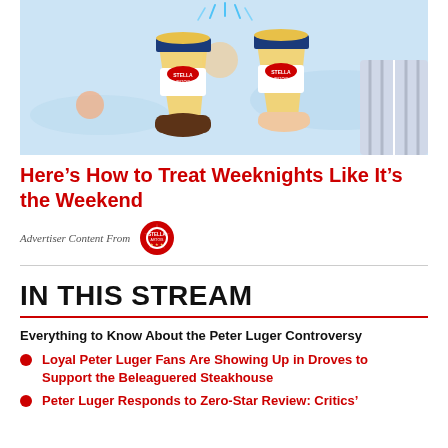[Figure (illustration): Two hands clinking Stella Artois beer glasses against a light blue outdoor background with sun and water elements.]
Here’s How to Treat Weeknights Like It’s the Weekend
Advertiser Content From [Stella Artois logo]
IN THIS STREAM
Everything to Know About the Peter Luger Controversy
Loyal Peter Luger Fans Are Showing Up in Droves to Support the Beleaguered Steakhouse
Peter Luger Responds to Zero-Star Review: Critics’